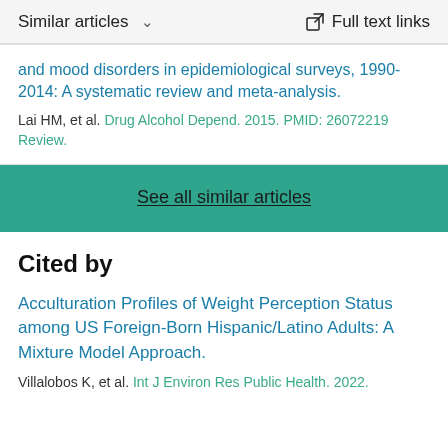Similar articles  ∨   Full text links
and mood disorders in epidemiological surveys, 1990-2014: A systematic review and meta-analysis.
Lai HM, et al. Drug Alcohol Depend. 2015. PMID: 26072219
Review.
See all similar articles
Cited by
Acculturation Profiles of Weight Perception Status among US Foreign-Born Hispanic/Latino Adults: A Mixture Model Approach.
Villalobos K, et al. Int J Environ Res Public Health. 2022.